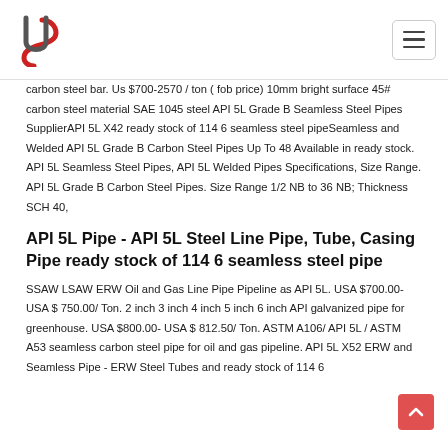Logo and navigation header
carbon steel bar. Us $700-2570 / ton ( fob price) 10mm bright surface 45# carbon steel material SAE 1045 steel API 5L Grade B Seamless Steel Pipes SupplierAPI 5L X42 ready stock of 114 6 seamless steel pipeSeamless and Welded API 5L Grade B Carbon Steel Pipes Up To 48 Available in ready stock. API 5L Seamless Steel Pipes, API 5L Welded Pipes Specifications, Size Range. API 5L Grade B Carbon Steel Pipes. Size Range 1/2 NB to 36 NB; Thickness SCH 40,
API 5L Pipe - API 5L Steel Line Pipe, Tube, Casing Pipe ready stock of 114 6 seamless steel pipe
SSAW LSAW ERW Oil and Gas Line Pipe Pipeline as API 5L. USA $700.00- USA $ 750.00/ Ton. 2 inch 3 inch 4 inch 5 inch 6 inch API galvanized pipe for greenhouse. USA $800.00- USA $ 812.50/ Ton. ASTM A106/ API 5L / ASTM A53 seamless carbon steel pipe for oil and gas pipeline. API 5L X52 ERW and Seamless Pipe - ERW Steel Tubes and ready stock of 114 6